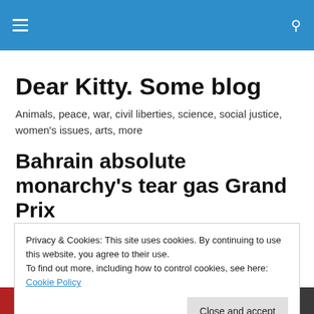Dear Kitty. Some blog — navigation header bar
Dear Kitty. Some blog
Animals, peace, war, civil liberties, science, social justice, women's issues, arts, more
Bahrain absolute monarchy's tear gas Grand Prix
Privacy & Cookies: This site uses cookies. By continuing to use this website, you agree to their use.
To find out more, including how to control cookies, see here: Cookie Policy
[Figure (photo): Bottom strip showing partial image of flags or banners in red, blue, white colors with a play button icon visible]